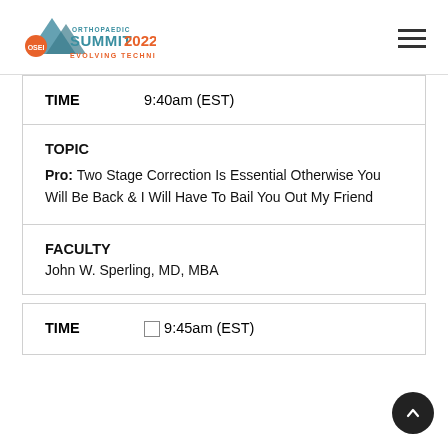[Figure (logo): OSEI Orthopaedic Summit 2022 Evolving Techniques logo with mountain graphic]
| TIME |  |
| --- | --- |
| TIME | 9:40am (EST) |
| TOPIC |  |
| --- | --- |
| TOPIC | Pro: Two Stage Correction Is Essential Otherwise You Will Be Back & I Will Have To Bail You Out My Friend |
| FACULTY |  |
| --- | --- |
| FACULTY | John W. Sperling, MD, MBA |
| TIME |  |
| --- | --- |
| TIME | 9:45am (EST) |